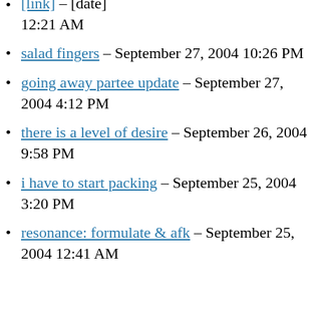[link] – [date] 12:21 AM
salad fingers – September 27, 2004 10:26 PM
going away partee update – September 27, 2004 4:12 PM
there is a level of desire – September 26, 2004 9:58 PM
i have to start packing – September 25, 2004 3:20 PM
resonance: formulate & afk – September 25, 2004 12:41 AM